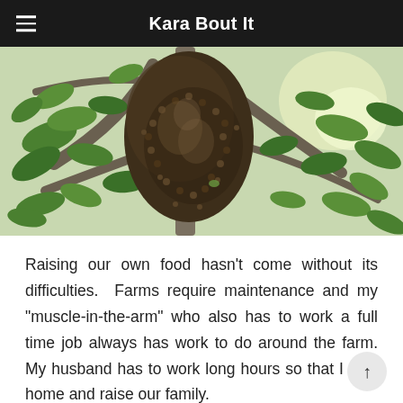Kara Bout It
[Figure (photo): A large swarm of bees clustered on tree branches with green leaves in the background, outdoors in natural light.]
Raising our own food hasn't come without its difficulties.  Farms require maintenance and my “muscle-in-the-arm” who also has to work a full time job always has work to do around the farm. My husband has to work long hours so that I stay home and raise our family.